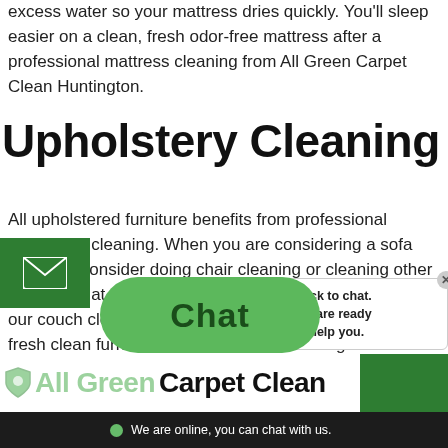excess water so your mattress dries quickly. You'll sleep easier on a clean, fresh odor-free mattress after a professional mattress cleaning from All Green Carpet Clean Huntington.
Upholstery Cleaning
All upholstered furniture benefits from professional upholstery cleaning. When you are considering a sofa cleaning, consider doing chair cleaning or cleaning other upholstery at the same time. We use a similar process to our couch cleaning service, and you will love having fresh clean furniture throughout your Huntington
[Figure (screenshot): Chat widget overlay showing a green oval chat bubble with 'Chat' text, a tooltip box saying 'Click to chat. We are ready to help you.', an email icon on the left, an All Green Carpet Clean logo at the bottom, and an online status bar reading 'We are online, you can chat with us.']